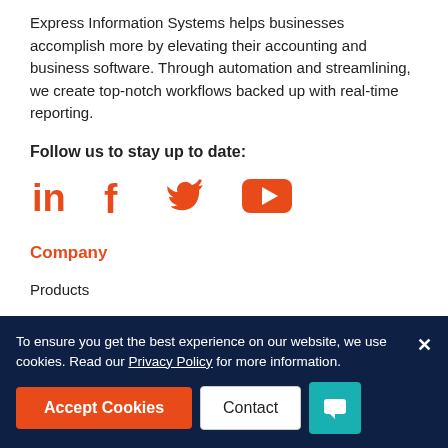Express Information Systems helps businesses accomplish more by elevating their accounting and business software. Through automation and streamlining, we create top-notch workflows backed up with real-time reporting.
Follow us to stay up to date:
[Figure (infographic): Four social media icons in orange/red: LinkedIn (in), Facebook (f), Twitter (bird), YouTube (play button)]
Company
Products
To ensure you get the best experience on our website, we use cookies. Read our Privacy Policy for more information.